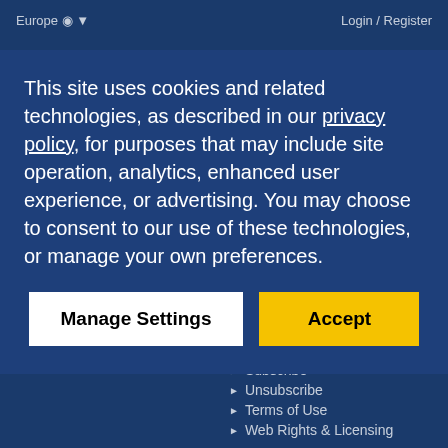Europe ▾    Login / Register
This site uses cookies and related technologies, as described in our privacy policy, for purposes that may include site operation, analytics, enhanced user experience, or advertising. You may choose to consent to our use of these technologies, or manage your own preferences.
Manage Settings | Accept
Copyright 2022 IDC. All rights reserved.  ► Privacy Policy  ► CCPA  ► Subscribe  ► Unsubscribe  ► Terms of Use  ► Web Rights & Licensing